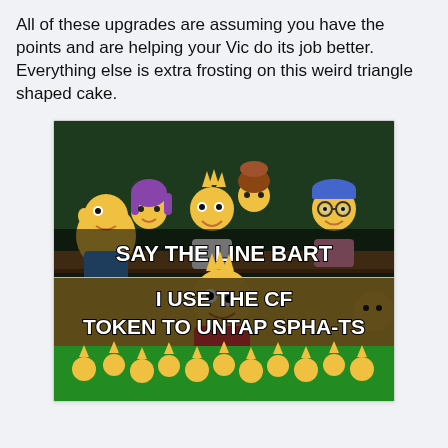All of these upgrades are assuming you have the points and are helping your Vic do its job better.  Everything else is extra frosting on this weird triangle shaped cake.
[Figure (illustration): Simpsons 'Say the Line Bart' meme. Top panel shows classroom scene with multiple Simpsons characters looking eager. Text overlay reads 'SAY THE LINE BART'. Bottom panel shows Bart Simpson with text overlay 'I USE THE CF TOKEN TO UNTAP SPHA-TS'. At the very bottom a crowd of students is visible.]